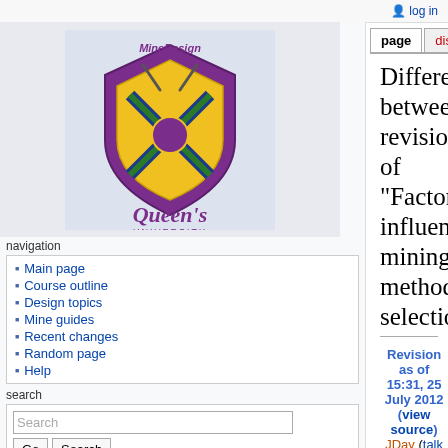log in
Difference between revisions of "Factors influencing mining method selection"
Revision as of 15:31, 25 July 2012 (view source) JDay (talk | contribs) (→Vertical Crater Retreat (VCR) Stoping) ← Older edit
Latest revision as of 10:55, 30 July 2012 (view source) JDay (talk | contribs)
(24 intermediate revisions by the same user not shown)
Line 1:   Line 1:
Main page
Course outline
Design topics
Mine guides
Recent changes
Random page
Help
What links here
Related changes